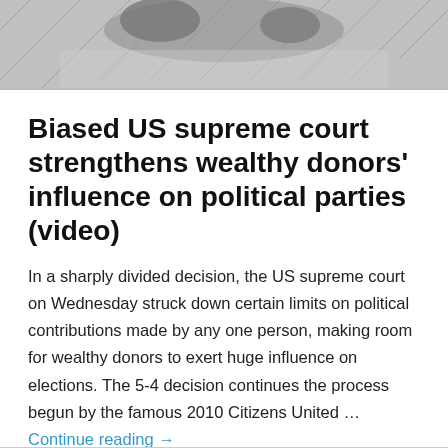[Figure (illustration): Cropped black and white illustration, appears to show a historical engraving or political cartoon with figures and an animal (possibly a donkey or elephant).]
Biased US supreme court strengthens wealthy donors’ influence on political parties (video)
In a sharply divided decision, the US supreme court on Wednesday struck down certain limits on political contributions made by any one person, making room for wealthy donors to exert huge influence on elections. The 5-4 decision continues the process begun by the famous 2010 Citizens United … Continue reading →
May 3, 2014
Leave a Reply